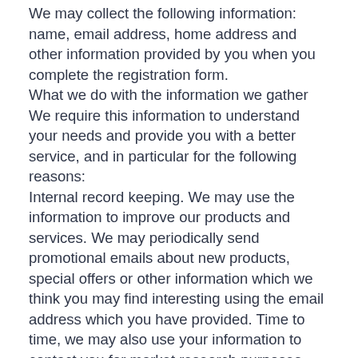We may collect the following information: name, email address, home address and other information provided by you when you complete the registration form.
What we do with the information we gather
We require this information to understand your needs and provide you with a better service, and in particular for the following reasons:
Internal record keeping. We may use the information to improve our products and services. We may periodically send promotional emails about new products, special offers or other information which we think you may find interesting using the email address which you have provided. Time to time, we may also use your information to contact you for market research purposes. We may contact you by email, phone, fax or mail. We may use the information to customise the website according to your interests.